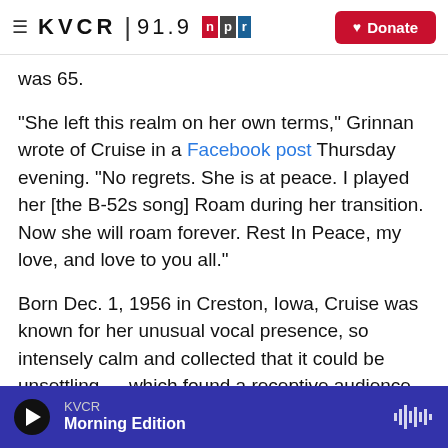KVCR 91.9 NPR | Donate
was 65.
"She left this realm on her own terms," Grinnan wrote of Cruise in a Facebook post Thursday evening. "No regrets. She is at peace. I played her [the B-52s song] Roam during her transition. Now she will roam forever. Rest In Peace, my love, and love to you all."
Born Dec. 1, 1956 in Creston, Iowa, Cruise was known for her unusual vocal presence, so intensely calm and collected that it could be unsettling — which found a receptive audience in Lynch and
KVCR | Morning Edition